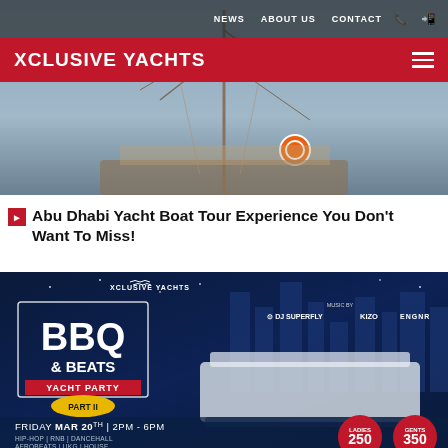NEWS  ABOUT US  CONTACT
XCLUSIVE YACHTS
[Figure (photo): Top portion of a yacht/sailing boat photo with rigging visible, partially obscured by the navigation and brand bars]
Abu Dhabi Yacht Boat Tour Experience You Don't Want To Miss!
[Figure (photo): BBQ & Beats Yacht Party Part II promotional poster. Features Xclusive Yachts branding, DJ Superfly, KIZO, ENGNR. Event: Friday Mar 20th, 2PM-6PM. Music: Hip-Hop, RnB, Dancehall, Afrobeats, UKG, House. Ladies 250, Gents 350.]